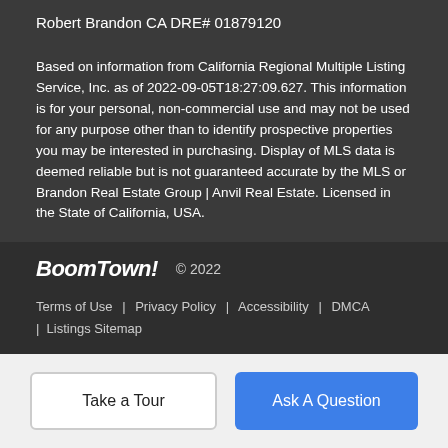Robert Brandon CA DRE# 01879120
Based on information from California Regional Multiple Listing Service, Inc. as of 2022-09-05T18:27:09.627. This information is for your personal, non-commercial use and may not be used for any purpose other than to identify prospective properties you may be interested in purchasing. Display of MLS data is deemed reliable but is not guaranteed accurate by the MLS or Brandon Real Estate Group | Anvil Real Estate. Licensed in the State of California, USA.
BoomTown! © 2022 | Terms of Use | Privacy Policy | Accessibility | DMCA | Listings Sitemap
Take a Tour | Ask A Question